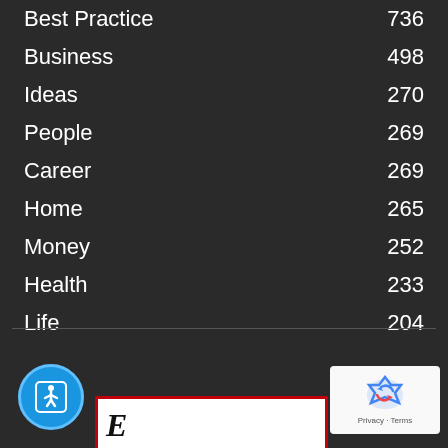Best Practice 736
Business 498
Ideas 270
People 269
Career 269
Home 265
Money 252
Health 233
Life 204
[Figure (other): Accessibility button (wheelchair icon) in blue circle]
[Figure (other): Google reCAPTCHA widget with Privacy and Terms links]
[Figure (other): Bottom partial image with red border showing italic text beginning with 'E']